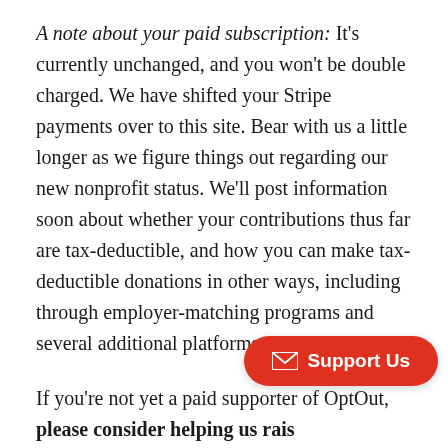A note about your paid subscription: It's currently unchanged, and you won't be double charged. We have shifted your Stripe payments over to this site. Bear with us a little longer as we figure things out regarding our new nonprofit status. We'll post information soon about whether your contributions thus far are tax-deductible, and how you can make tax-deductible donations in other ways, including through employer-matching programs and several additional platforms.
If you're not yet a paid supporter of OptOut, please consider helping us raise [funds for] our launch later this year. If you would like to do so here or click the red button on the bottom
[Figure (other): Red rounded-rectangle button labeled 'Support Us' with an envelope icon, overlaying the text in the lower right corner]